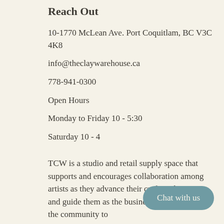Reach Out
10-1770 McLean Ave. Port Coquitlam, BC V3C 4K8
info@theclaywarehouse.ca
778-941-0300
Open Hours
Monday to Friday 10 - 5:30
Saturday 10 - 4
TCW is a studio and retail supply space that supports and encourages collaboration among artists as they advance their craft, techniques, and guide them as they businesses and to engage the community to